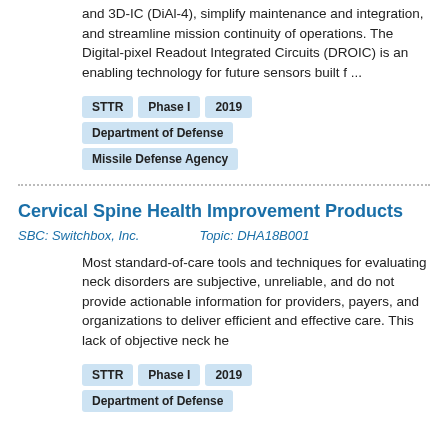and 3D-IC (DiAl-4), simplify maintenance and integration, and streamline mission continuity of operations. The Digital-pixel Readout Integrated Circuits (DROIC) is an enabling technology for future sensors built f ...
STTR
Phase I
2019
Department of Defense
Missile Defense Agency
Cervical Spine Health Improvement Products
SBC: Switchbox, Inc.        Topic: DHA18B001
Most standard-of-care tools and techniques for evaluating neck disorders are subjective, unreliable, and do not provide actionable information for providers, payers, and organizations to deliver efficient and effective care. This lack of objective neck he
STTR
Phase I
2019
Department of Defense